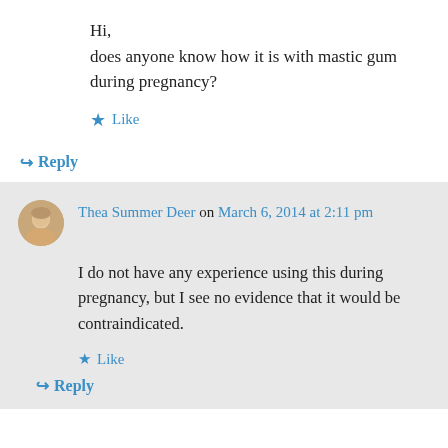Hi,
does anyone know how it is with mastic gum during pregnancy?
★ Like
↪ Reply
Thea Summer Deer on March 6, 2014 at 2:11 pm
I do not have any experience using this during pregnancy, but I see no evidence that it would be contraindicated.
★ Like
↪ Reply